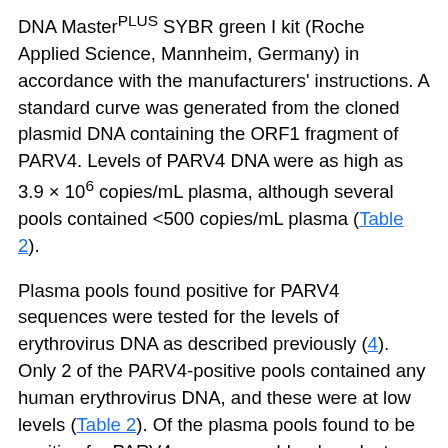DNA Master^PLUS SYBR green I kit (Roche Applied Science, Mannheim, Germany) in accordance with the manufacturers' instructions. A standard curve was generated from the cloned plasmid DNA containing the ORF1 fragment of PARV4. Levels of PARV4 DNA were as high as 3.9 × 10^6 copies/mL plasma, although several pools contained <500 copies/mL plasma (Table 2).
Plasma pools found positive for PARV4 sequences were tested for the levels of erythrovirus DNA as described previously (4). Only 2 of the PARV4-positive pools contained any human erythrovirus DNA, and these were at low levels (Table 2). Of the plasma pools found to be positive for PARV4 sequences, blood products from only 2 were available for further analysis. Both products were immunoglobulin preparations, and in neither case could PARV4